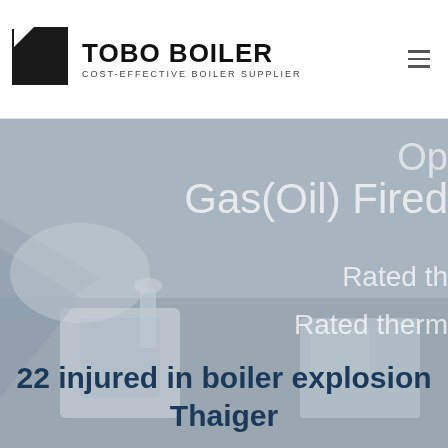TOBO BOILER COST-EFFECTIVE BOILER SUPPLIER
[Figure (photo): Background photo of industrial boiler equipment, overlaid with partial text: Gas(Oil) Fired, Rated th, Rated therm]
22 injured in boiler explosion Thaiger